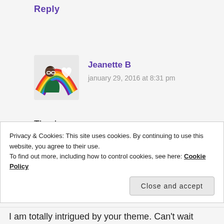Reply
Jeanette B
january 29, 2016 at 8:31 pm
[Figure (illustration): Avatar image of Jeanette B showing a cartoon person with glasses and a rainbow heart background]
Thank you.
Like
Reply
Privacy & Cookies: This site uses cookies. By continuing to use this website, you agree to their use.
To find out more, including how to control cookies, see here: Cookie Policy
Close and accept
I am totally intrigued by your theme. Can't wait